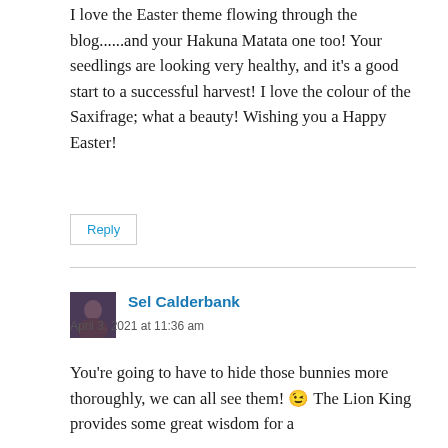I love the Easter theme flowing through the blog......and your Hakuna Matata one too! Your seedlings are looking very healthy, and it's a good start to a successful harvest! I love the colour of the Saxifrage; what a beauty! Wishing you a Happy Easter!
Reply
Sel Calderbank
April 3, 2021 at 11:36 am
You're going to have to hide those bunnies more thoroughly, we can all see them! 😉 The Lion King provides some great wisdom for a